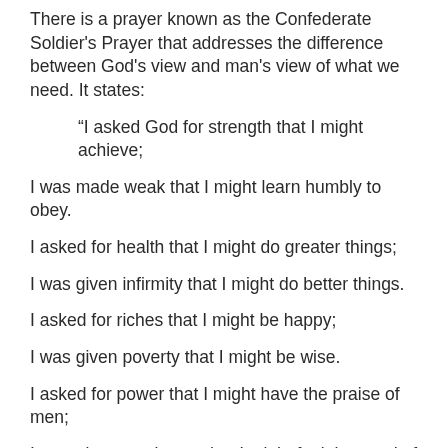There is a prayer known as the Confederate Soldier's Prayer that addresses the difference between God's view and man's view of what we need. It states:
“I asked God for strength that I might achieve;

I was made weak that I might learn humbly to obey.

I asked for health that I might do greater things;

I was given infirmity that I might do better things.

I asked for riches that I might be happy;

I was given poverty that I might be wise.

I asked for power that I might have the praise of men;

I was given weakness that I might feel the need of God.

I asked for all things that I might enjoy life;